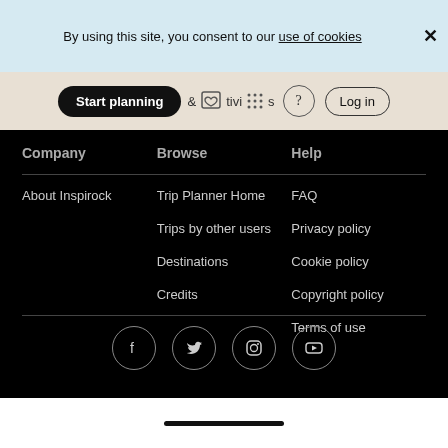By using this site, you consent to our use of cookies
Company | Browse | Help
About Inspirock
Trip Planner Home
Trips by other users
Destinations
Credits
FAQ
Privacy policy
Cookie policy
Copyright policy
Terms of use
[Figure (other): Social media icons: Facebook, Twitter, Instagram, YouTube]